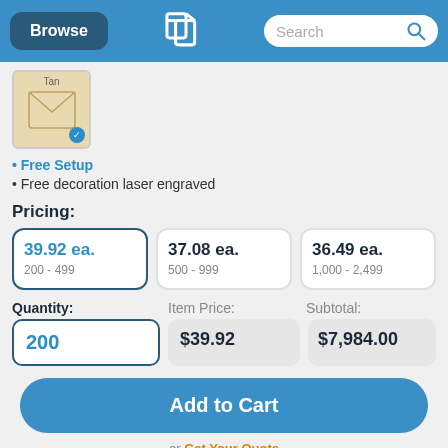Browse | [Logo] | Search
[Figure (photo): Tan envelope product thumbnail with checkmark]
• Free Setup
• Free decoration laser engraved
Pricing:
| Price | Quantity Range |
| --- | --- |
| 39.92 ea. | 200 - 499 |
| 37.08 ea. | 500 - 999 |
| 36.49 ea. | 1,000 - 2,499 |
Quantity: 200 | Item Price: $39.92 | Subtotal: $7,984.00
Add to Cart
or Get Your Quote
Delivery...